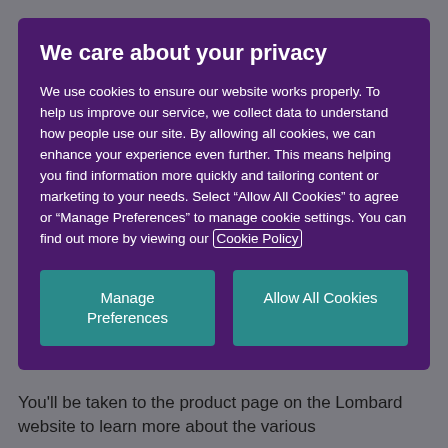We care about your privacy
We use cookies to ensure our website works properly. To help us improve our service, we collect data to understand how people use our site. By allowing all cookies, we can enhance your experience even further. This means helping you find information more quickly and tailoring content or marketing to your needs. Select “Allow All Cookies” to agree or “Manage Preferences” to manage cookie settings. You can find out more by viewing our Cookie Policy
Manage Preferences
Allow All Cookies
You'll be taken to the product page on the Lombard website to learn more about the various